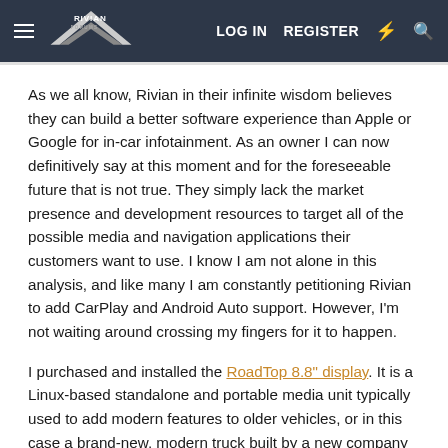RIVIAN FORUMS — LOG IN  REGISTER
As we all know, Rivian in their infinite wisdom believes they can build a better software experience than Apple or Google for in-car infotainment. As an owner I can now definitively say at this moment and for the foreseeable future that is not true. They simply lack the market presence and development resources to target all of the possible media and navigation applications their customers want to use. I know I am not alone in this analysis, and like many I am constantly petitioning Rivian to add CarPlay and Android Auto support. However, I'm not waiting around crossing my fingers for it to happen.
I purchased and installed the RoadTop 8.8" display. It is a Linux-based standalone and portable media unit typically used to add modern features to older vehicles, or in this case a brand-new, modern truck built by a new company with too much hubris. It has a wide screen display, which I prefer over the typical 4:3 units. It supports both CarPlay